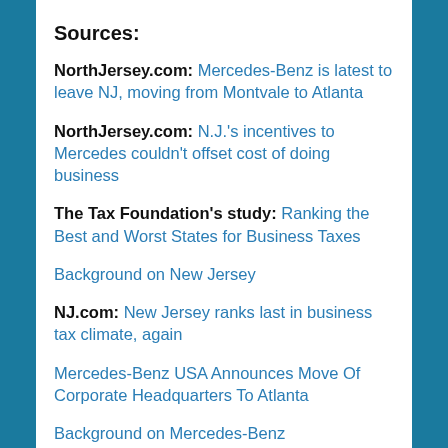Sources:
NorthJersey.com: Mercedes-Benz is latest to leave NJ, moving from Montvale to Atlanta
NorthJersey.com: N.J.'s incentives to Mercedes couldn't offset cost of doing business
The Tax Foundation's study: Ranking the Best and Worst States for Business Taxes
Background on New Jersey
NJ.com: New Jersey ranks last in business tax climate, again
Mercedes-Benz USA Announces Move Of Corporate Headquarters To Atlanta
Background on Mercedes-Benz
Background on Daimler AG